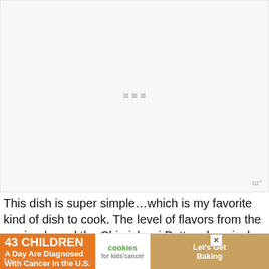[Figure (photo): Large image placeholder area with grey background and three loading dots in the center, with a watermark logo in the bottom-right corner]
This dish is super simple…which is my favorite kind of dish to cook. The level of flavors from the marinade and the Chimichurri Butter play nicely together…
[Figure (other): Advertisement banner: 43 CHILDREN A Day Are Diagnosed With Cancer in the U.S. — cookies for kids' cancer — Let's Get Baking]